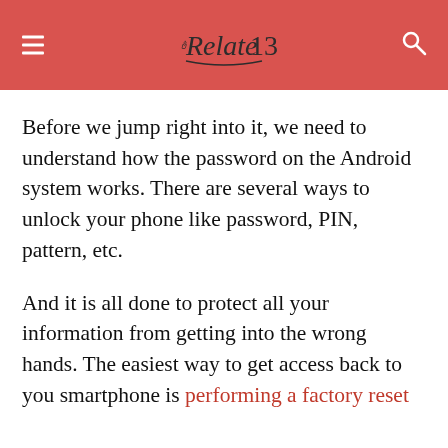Relate13 [logo with menu and search icons]
Before we jump right into it, we need to understand how the password on the Android system works. There are several ways to unlock your phone like password, PIN, pattern, etc.
And it is all done to protect all your information from getting into the wrong hands. The easiest way to get access back to you smartphone is performing a factory reset